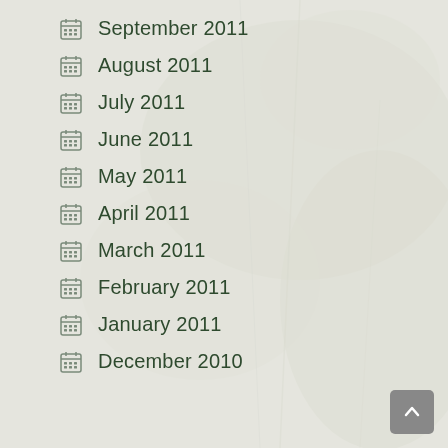September 2011
August 2011
July 2011
June 2011
May 2011
April 2011
March 2011
February 2011
January 2011
December 2010